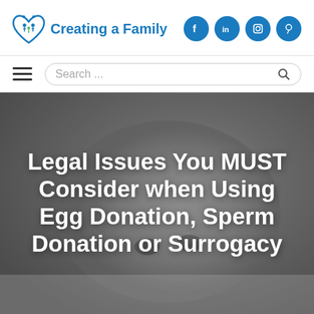[Figure (logo): Creating a Family logo with heart and family icon in blue]
[Figure (infographic): Social media icons: Facebook, LinkedIn, Instagram, Pinterest in blue circles]
[Figure (screenshot): Navigation bar with hamburger menu and search box]
[Figure (photo): Black and white photo of a baby/child lying down, close-up face]
Legal Issues You MUST Consider when Using Egg Donation, Sperm Donation or Surrogacy